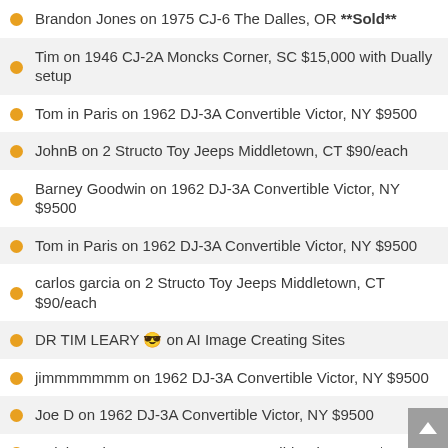Brandon Jones on 1975 CJ-6 The Dalles, OR **Sold**
Tim on 1946 CJ-2A Moncks Corner, SC $15,000 with Dually setup
Tom in Paris on 1962 DJ-3A Convertible Victor, NY $9500
JohnB on 2 Structo Toy Jeeps Middletown, CT $90/each
Barney Goodwin on 1962 DJ-3A Convertible Victor, NY $9500
Tom in Paris on 1962 DJ-3A Convertible Victor, NY $9500
carlos garcia on 2 Structo Toy Jeeps Middletown, CT $90/each
DR TIM LEARY 😎 on AI Image Creating Sites
jimmmmmmm on 1962 DJ-3A Convertible Victor, NY $9500
Joe D on 1962 DJ-3A Convertible Victor, NY $9500
Ralph Nader on 1962 DJ-3A Convertible Victor, NY $9500
Dave from Mn on Jeep and Parts Collection Norco, CA $35,000
David Eilers on Jeep and Parts Collection Norco, CA $35,000
Brad on 1944 MB Moses Lake, WA $9000
David Eilers on 1948 CJ-2A Sharon, PA $10,500